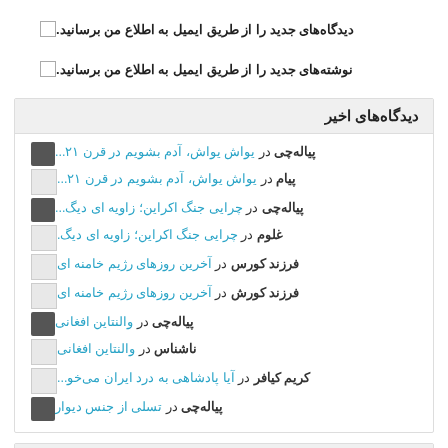دیدگاه‌های جدید را از طریق ایمیل به اطلاع من برسانید.
نوشته‌های جدید را از طریق ایمیل به اطلاع من برسانید.
دیدگاه‌های اخیر
پیاله‌چی در یواش یواش، آدم بشویم در قرن ۲۱...
پیام در یواش یواش، آدم بشویم در قرن ۲۱...
پیاله‌چی در چرایی جنگ اکراین؛ زاویه ای دیگ...
غلوم در چرایی جنگ اکراین؛ زاویه ای دیگ.
فرزند کورس در آخرین روزهای رژیم خامنه ای
فرزند کورش در آخرین روزهای رژیم خامنه ای
پیاله‌چی در والنتاین افغانی
ناشناس در والنتاین افغانی
کریم کیافر در آیا پادشاهی به درد ایران می‌خو...
پیاله‌چی در تسلی از جنس دیوار
نوشته‌های تازه